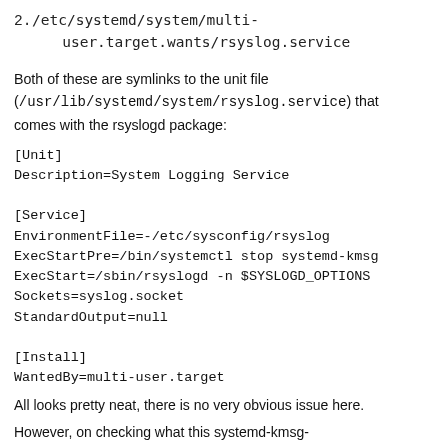2. /etc/systemd/system/multi-user.target.wants/rsyslog.service
Both of these are symlinks to the unit file (/usr/lib/systemd/system/rsyslog.service) that comes with the rsyslogd package:
[Unit]
Description=System Logging Service

[Service]
EnvironmentFile=-/etc/sysconfig/rsyslog
ExecStartPre=/bin/systemctl stop systemd-kmsg
ExecStart=/sbin/rsyslogd -n $SYSLOGD_OPTIONS
Sockets=syslog.socket
StandardOutput=null

[Install]
WantedBy=multi-user.target
All looks pretty neat, there is no very obvious issue here.
However, on checking what this systemd-kmsg-syslogd.service is and does, I seem to be unable to